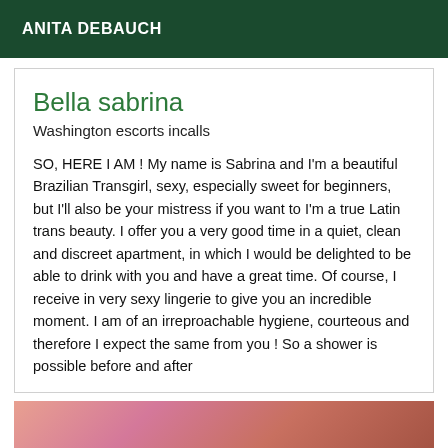ANITA DEBAUCH
Bella sabrina
Washington escorts incalls
SO, HERE I AM ! My name is Sabrina and I'm a beautiful Brazilian Transgirl, sexy, especially sweet for beginners, but I'll also be your mistress if you want to I'm a true Latin trans beauty. I offer you a very good time in a quiet, clean and discreet apartment, in which I would be delighted to be able to drink with you and have a great time. Of course, I receive in very sexy lingerie to give you an incredible moment. I am of an irreproachable hygiene, courteous and therefore I expect the same from you ! So a shower is possible before and after
[Figure (photo): Partial photo of a person wearing a pink top, cropped at the bottom of the page]